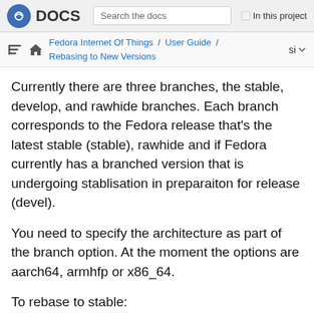DOCS | Search the docs | In this project
Fedora Internet Of Things / User Guide / Rebasing to New Versions | si
Currently there are three branches, the stable, develop, and rawhide branches. Each branch corresponds to the Fedora release that’s the latest stable (stable), rawhide and if Fedora currently has a branched version that is undergoing stablisation in preparaiton for release (devel).
You need to specify the architecture as part of the branch option. At the moment the options are aarch64, armhfp or x86_64.
To rebase to stable: